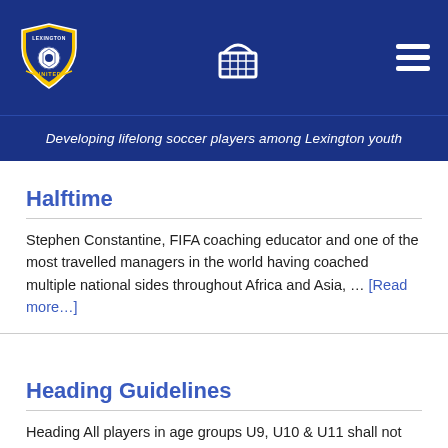[Figure (logo): Lexington United soccer club shield logo with soccer ball in center, blue and gold colors]
[Figure (illustration): Shopping basket / cart icon in white outline]
[Figure (illustration): Hamburger menu icon with three white horizontal lines]
Developing lifelong soccer players among Lexington youth
Halftime
Stephen Constantine, FIFA coaching educator and one of the most travelled managers in the world having coached multiple national sides throughout Africa and Asia, … [Read more...]
Heading Guidelines
Heading All players in age groups U9, U10 & U11 shall not engage in heading in either practice or games. All players age 10 years old and younger